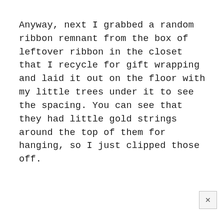Anyway, next I grabbed a random ribbon remnant from the box of leftover ribbon in the closet that I recycle for gift wrapping and laid it out on the floor with my little trees under it to see the spacing. You can see that they had little gold strings around the top of them for hanging, so I just clipped those off.